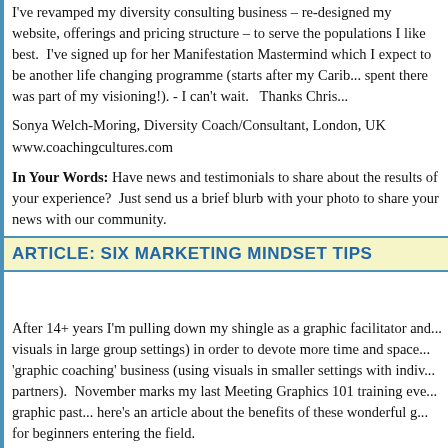I've revamped my diversity consulting business – re-designed my website, offerings and pricing structure – to serve the populations I like best.  I've signed up for her Manifestation Mastermind which I expect to be another life changing programme (starts after my Carib... spent there was part of my visioning!). - I can't wait.   Thanks Chris...
Sonya Welch-Moring, Diversity Coach/Consultant, London, UK
www.coachingcultures.com
In Your Words: Have news and testimonials to share about the results of your experience?  Just send us a brief blurb with your photo to share your news with our community.
ARTICLE: SIX MARKETING MINDSET TIPS
After 14+ years I'm pulling down my shingle as a graphic facilitator and... visuals in large group settings) in order to devote more time and space... 'graphic coaching' business (using visuals in smaller settings with indiv... partners).  November marks my last Meeting Graphics 101 training eve... graphic past... here's an article about the benefits of these wonderful g... for beginners entering the field.